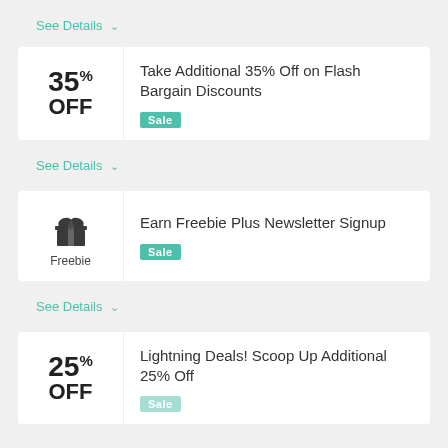See Details ∨
Take Additional 35% Off on Flash Bargain Discounts — Sale
See Details ∨
Earn Freebie Plus Newsletter Signup — Sale
See Details ∨
Lightning Deals! Scoop Up Additional 25% Off